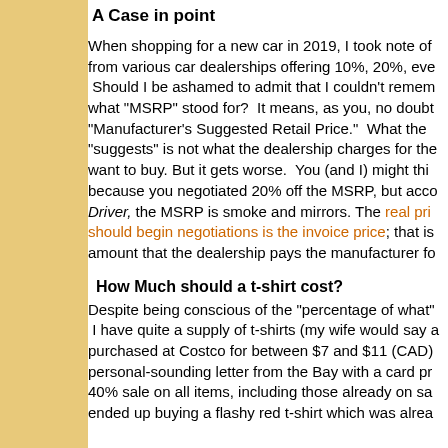A Case in point
When shopping for a new car in 2019, I took note of from various car dealerships offering 10%, 20%, eve Should I be ashamed to admit that I couldn't remem what "MSRP" stood for?  It means, as you, no doubt "Manufacturer's Suggested Retail Price."  What the "suggests" is not what the dealership charges for the want to buy. But it gets worse.  You (and I) might thi because you negotiated 20% off the MSRP, but acco Driver, the MSRP is smoke and mirrors. The real price where you should begin negotiations is the invoice price; that is amount that the dealership pays the manufacturer fo
How Much should a t-shirt cost?
Despite being conscious of the "percentage of what" I have quite a supply of t-shirts (my wife would say a purchased at Costco for between $7 and $11 (CAD) personal-sounding letter from the Bay with a card pr 40% sale on all items, including those already on sa ended up buying a flashy red t-shirt which was alrea